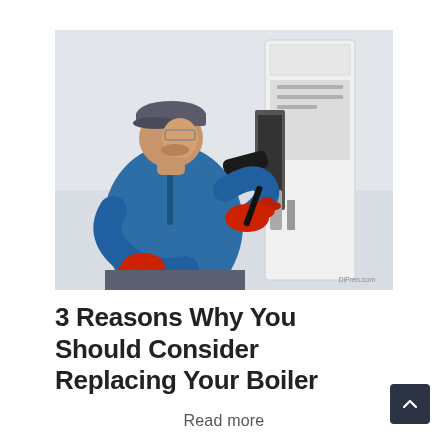[Figure (photo): A technician wearing a blue polo shirt, grey cap, and red gloves, working on a white boiler/HVAC unit mounted on a wall. The worker is examining or installing components of the heating system. Watermark reads 'DiPren.com' in the bottom-right corner of the image.]
3 Reasons Why You Should Consider Replacing Your Boiler
Read more